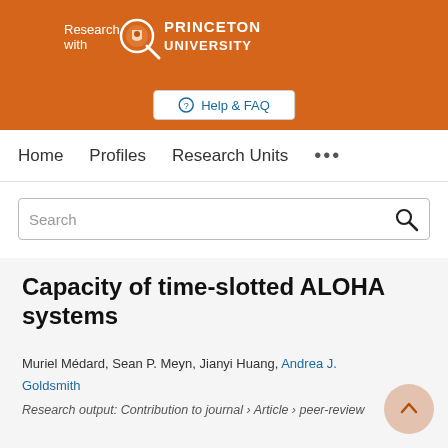[Figure (logo): Princeton University 'Research with Princeton University' logo on orange background with magnifying glass icon]
Help & FAQ
Home   Profiles   Research Units   •••
Search
Capacity of time-slotted ALOHA systems
Muriel Médard, Sean P. Meyn, Jianyi Huang, Andrea J. Goldsmith
Research output: Contribution to journal › Article › peer-review